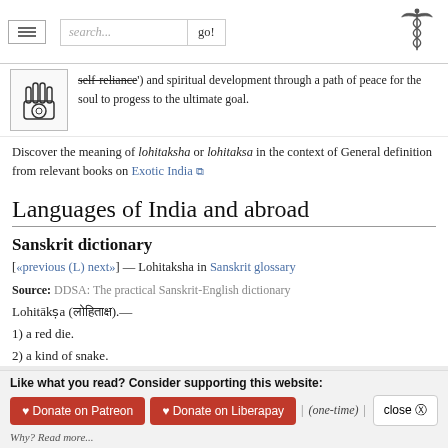search... go!
self-reliance') and spiritual development through a path of peace for the soul to progess to the ultimate goal.
Discover the meaning of lohitaksha or lohitaksa in the context of General definition from relevant books on Exotic India
Languages of India and abroad
Sanskrit dictionary
[«previous (L) next»] — Lohitaksha in Sanskrit glossary
Source: DDSA: The practical Sanskrit-English dictionary
Lohitākṣa (लोहिताक्ष).—
1) a red die.
2) a kind of snake.
3) the (Indian) cuckoo.
Like what you read? Consider supporting this website:
♥ Donate on Patreon  ♥ Donate on Liberapay  | (one-time) |  close ⊗
Why? Read more...